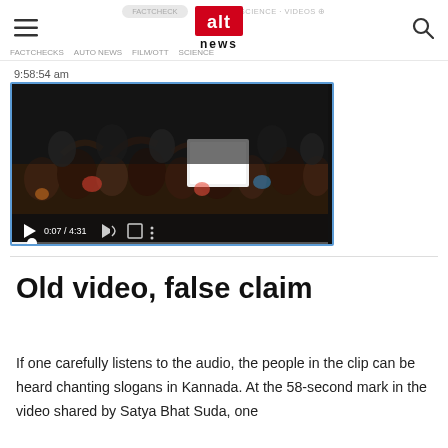Alt News logo navigation header
9:58:54 am
[Figure (screenshot): Embedded video player showing a crowd scene. Video timestamp shows 0:07 / 4:31. Controls visible: play button, time display, volume, fullscreen, more options. Progress bar near start. Blue border around player.]
Old video, false claim
If one carefully listens to the audio, the people in the clip can be heard chanting slogans in Kannada. At the 58-second mark in the video shared by Satya Bhat Suda, one